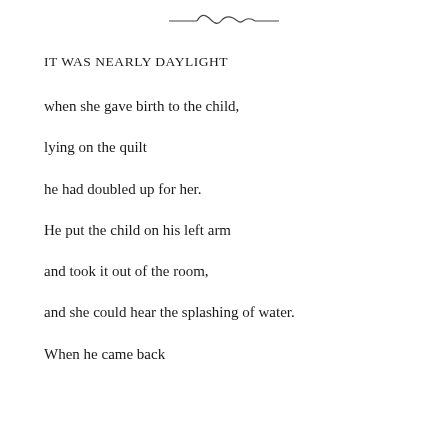[Figure (illustration): Decorative ornamental divider with scroll/wave motif, centered at top of page]
IT WAS NEARLY DAYLIGHT
when she gave birth to the child,
lying on the quilt
he had doubled up for her.
He put the child on his left arm
and took it out of the room,
and she could hear the splashing of water.
When he came back